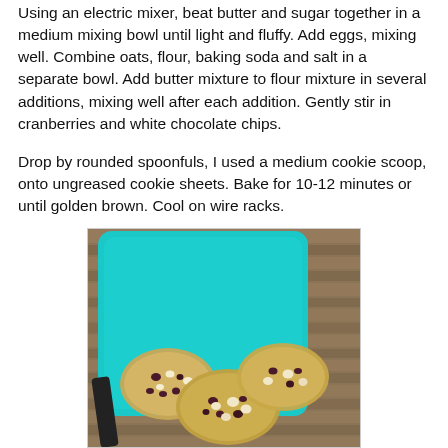Using an electric mixer, beat butter and sugar together in a medium mixing bowl until light and fluffy.  Add eggs, mixing well.  Combine oats, flour, baking soda and salt in a separate bowl.  Add butter mixture to flour mixture in several additions, mixing well after each addition.  Gently stir in cranberries and white chocolate chips.
Drop by rounded spoonfuls, I used a medium cookie scoop, onto ungreased cookie sheets.  Bake for 10-12 minutes or until golden brown.  Cool on wire racks.
[Figure (photo): Photo of oatmeal cranberry white chocolate chip cookies piled on a teal/turquoise square plate, resting on a wooden surface. Cookies are golden brown with visible white chocolate chips and dark cranberries.]